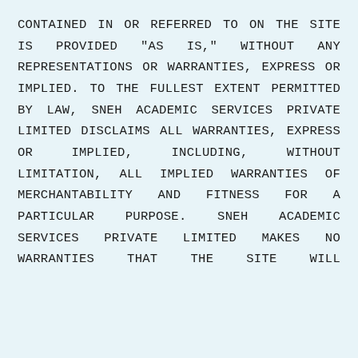CONTAINED IN OR REFERRED TO ON THE SITE IS PROVIDED "AS IS," WITHOUT ANY REPRESENTATIONS OR WARRANTIES, EXPRESS OR IMPLIED. TO THE FULLEST EXTENT PERMITTED BY LAW, SNEH ACADEMIC SERVICES PRIVATE LIMITED DISCLAIMS ALL WARRANTIES, EXPRESS OR IMPLIED, INCLUDING, WITHOUT LIMITATION, ALL IMPLIED WARRANTIES OF MERCHANTABILITY AND FITNESS FOR A PARTICULAR PURPOSE. SNEH ACADEMIC SERVICES PRIVATE LIMITED MAKES NO WARRANTIES THAT THE SITE WILL